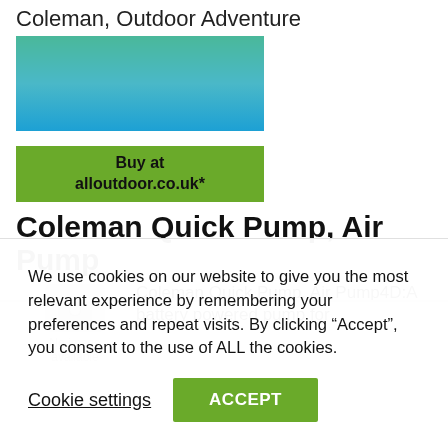Coleman, Outdoor Adventure
[Figure (other): Green-to-blue gradient banner image for alloutdoor.co.uk with a 'Buy at alloutdoor.co.uk*' green call-to-action button below]
Coleman Quick Pump, Air Pump
[Figure (photo): No image available placeholder with camera icon]
Coleman Quick Pump, Air Pump4D:A battery powered pump for
We use cookies on our website to give you the most relevant experience by remembering your preferences and repeat visits. By clicking “Accept”, you consent to the use of ALL the cookies.
Cookie settings
ACCEPT